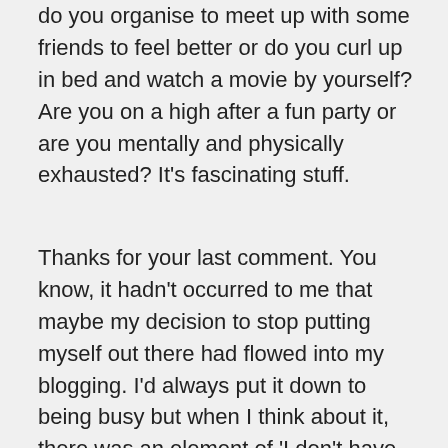do you organise to meet up with some friends to feel better or do you curl up in bed and watch a movie by yourself? Are you on a high after a fun party or are you mentally and physically exhausted? It's fascinating stuff.
Thanks for your last comment. You know, it hadn't occurred to me that maybe my decision to stop putting myself out there had flowed into my blogging. I'd always put it down to being busy but when I think about it, there was an element of 'I don't have the emotional resources to even put my thoughts out there electronically'. But I have been feeling like I've had too much